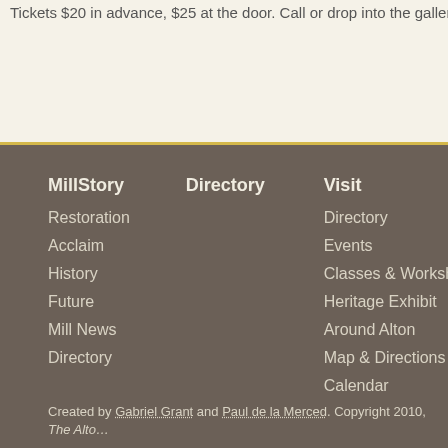Tickets $20 in advance, $25 at the door. Call or drop into the gallery t…
MillStory
Restoration
Acclaim
History
Future
Mill News
Directory
Directory
Visit
Directory
Events
Classes & Workshops
Heritage Exhibit
Around Alton
Map & Directions
Calendar
Created by Gabriel Grant and Paul de la Merced. Copyright 2010, The Alto…